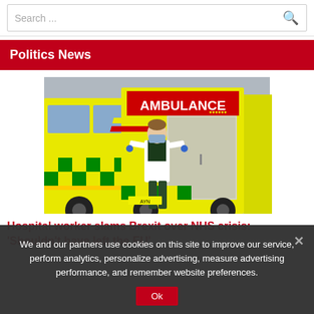Search ...
Politics News
[Figure (photo): NHS ambulance worker in PPE apron and face mask walking away from yellow and green ambulances]
Hospital worker slams Brexit over NHS crisis: 'Shouldn't have left the EU'
We and our partners use cookies on this site to improve our service, perform analytics, personalize advertising, measure advertising performance, and remember website preferences.
Ok